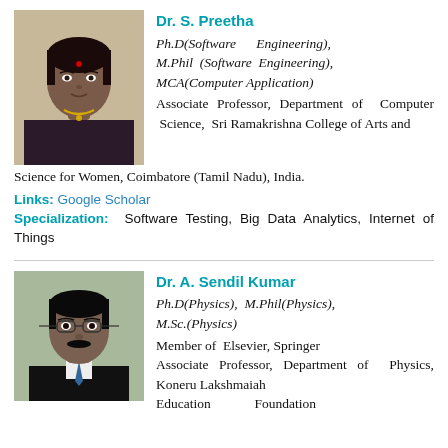[Figure (photo): Headshot photo of Dr. S. Preetha, a woman in a dark sari with jewelry]
Dr. S. Preetha
Ph.D(Software Engineering), M.Phil (Software Engineering), MCA(Computer Application)
Associate Professor, Department of Computer Science, Sri Ramakrishna College of Arts and Science for Women, Coimbatore (Tamil Nadu), India.
Links: Google Scholar
Specialization: Software Testing, Big Data Analytics, Internet of Things
[Figure (photo): Headshot photo of Dr. A. Sendil Kumar, a man in a suit and tie]
Dr. A. Sendil Kumar
Ph.D(Physics), M.Phil(Physics), M.Sc.(Physics)
Member of Elsevier, Springer Associate Professor, Department of Physics, Koneru Lakshmaiah Education Foundation